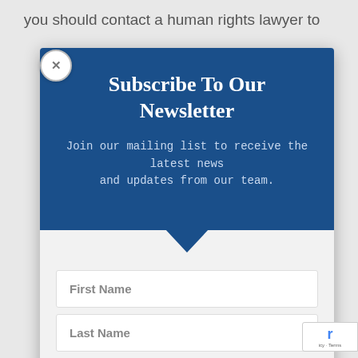you should contact a human rights lawyer to
Subscribe To Our Newsletter
Join our mailing list to receive the latest news and updates from our team.
First Name
Last Name
Email
SUBSCRIBE!